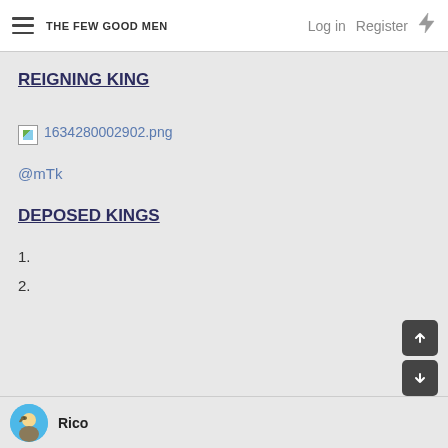THE FEW GOOD MEN | Log in | Register
REIGNING KING
[Figure (other): Broken image placeholder labeled 1634280002902.png]
@mTk
DEPOSED KINGS
1.
2.
Rico